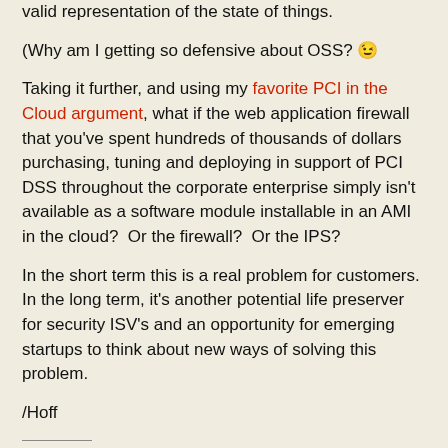valid representation of the state of things.
(Why am I getting so defensive about OSS? 😉
Taking it further, and using my favorite PCI in the Cloud argument, what if the web application firewall that you've spent hundreds of thousands of dollars purchasing, tuning and deploying in support of PCI DSS throughout the corporate enterprise simply isn't available as a software module installable in an AMI in the cloud?  Or the firewall?  Or the IPS?
In the short term this is a real problem for customers.  In the long term, it's another potential life preserver for security ISV's and an opportunity for emerging startups to think about new ways of solving this problem.
/Hoff